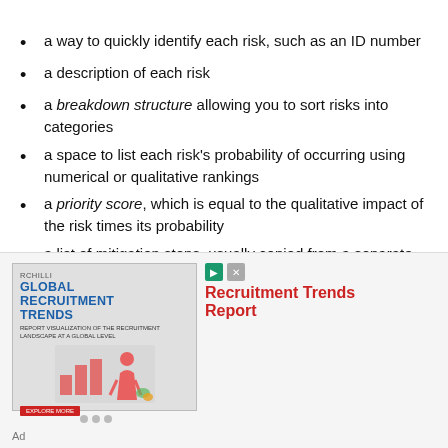a way to quickly identify each risk, such as an ID number
a description of each risk
a breakdown structure allowing you to sort risks into categories
a space to list each risk's probability of occurring using numerical or qualitative rankings
a priority score, which is equal to the qualitative impact of the risk times its probability
a list of mitigation steps, usually copied from a separate document
a list of risk owners, who execute and oversee mitigation steps
[Figure (infographic): Advertisement banner for RChilli Global Recruitment Trends Report. Shows a book cover with a figure illustration on the left, and bold red text 'Recruitment Trends Report' on the right with icons.]